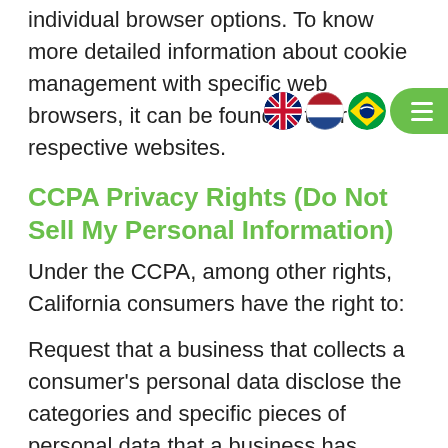individual browser options. To know more detailed information about cookie management with specific web browsers, it can be found at their respective websites.
CCPA Privacy Rights (Do Not Sell My Personal Information)
Under the CCPA, among other rights, California consumers have the right to:
Request that a business that collects a consumer's personal data disclose the categories and specific pieces of personal data that a business has collected about consumers.
Request that a business delete any personal data